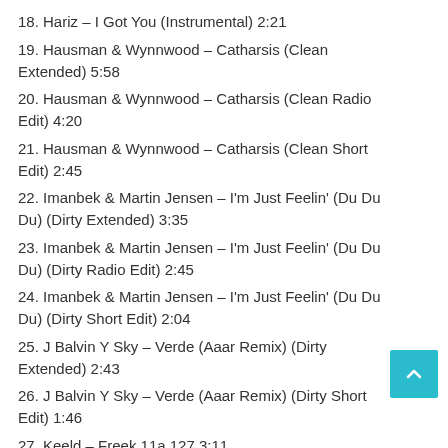18. Hariz – I Got You (Instrumental) 2:21
19. Hausman & Wynnwood – Catharsis (Clean Extended) 5:58
20. Hausman & Wynnwood – Catharsis (Clean Radio Edit) 4:20
21. Hausman & Wynnwood – Catharsis (Clean Short Edit) 2:45
22. Imanbek & Martin Jensen – I'm Just Feelin' (Du Du Du) (Dirty Extended) 3:35
23. Imanbek & Martin Jensen – I'm Just Feelin' (Du Du Du) (Dirty Radio Edit) 2:45
24. Imanbek & Martin Jensen – I'm Just Feelin' (Du Du Du) (Dirty Short Edit) 2:04
25. J Balvin Y Sky – Verde (Aaar Remix) (Dirty Extended) 2:43
26. J Balvin Y Sky – Verde (Aaar Remix) (Dirty Short Edit) 1:46
27. Keeld – Freek 11a 127 3:11
28. Keeld – Freek 11a 127 3:11
29. Mahalo & Dlmt Ft. Lily Denning – So Cold 1a 124 3:17
30. Mahalo & Dlmt Ft. Lily Denning – So Cold 1a 124 3:18
31. Mahalo & Dlmt Ft. Lily Denning – So Cold 1a 124 3:56
32. Mahalo & Dlmt Ft. Lily Denning – So Cold 1a 124 3:56